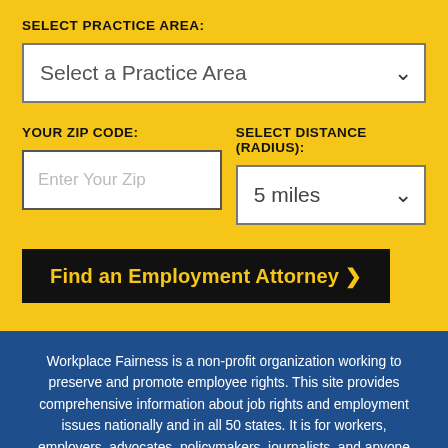SELECT PRACTICE AREA:
Select a Practice Area
YOUR ZIP CODE:
SELECT DISTANCE (RADIUS):
Enter Your Zip
5 miles
Find an Employment Attorney ❯
Workplace Fairness is a non-profit organization working to preserve and promote employee rights. This site provides comprehensive information about job rights and employment issues nationally and in all 50 states. It is for workers, employers, advocates, policymakers, journalists, and anyone who wants to understand their employment rights.
[Figure (screenshot): Petco advertisement: Your One-Stop Summer Pet Shop with Petco logo and navigation arrow icon]
Your One-Stop Summer Pet Shop
Petco